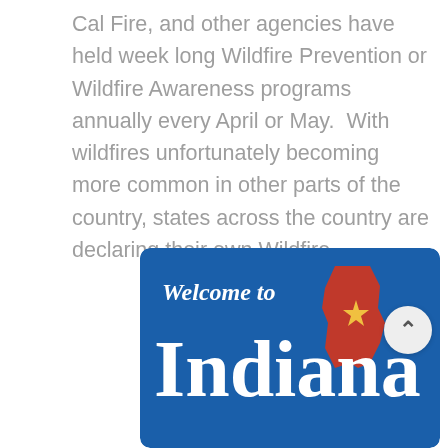Cal Fire, and other agencies have held week long Wildfire Prevention or Wildfire Awareness programs annually every April or May.  With wildfires unfortunately becoming more common in other parts of the country, states across the country are declaring their own Wildfire...
f  in  [twitter]  [email]  - - - - - - - - - - - - - - - - - [comment] 0
[Figure (photo): Welcome to Indiana state road sign on blue background. Shows italic 'Welcome to' text above large bold 'Indiana' text in white, with Indiana state outline in red/gold on the right side.]